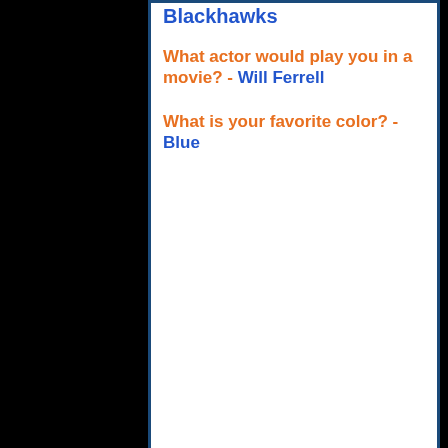Blackhawks
What actor would play you in a movie? - Will Ferrell
What is your favorite color? - Blue
Tickets
Schedule
Roster
Standings
News
Text Alerts
Directions
© 2022 ALL RIGHTS RESERVED
VIEW FULL SITE